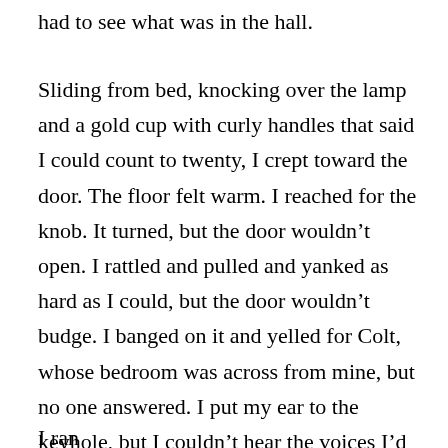had to see what was in the hall.
Sliding from bed, knocking over the lamp and a gold cup with curly handles that said I could count to twenty, I crept toward the door. The floor felt warm. I reached for the knob. It turned, but the door wouldn’t open. I rattled and pulled and yanked as hard as I could, but the door wouldn’t budge. I banged on it and yelled for Colt, whose bedroom was across from mine, but no one answered. I put my ear to the keyhole, but I couldn’t hear the voices I’d heard earlier, just before I’d fallen asleep. Angry voices.
I ran down the stairs of the house, stumbling at